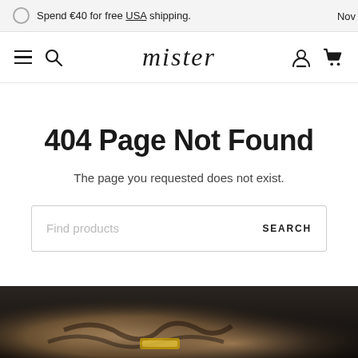Spend €40 for free USA shipping.   Nov
[Figure (screenshot): Navigation bar with hamburger menu, search icon, mister brand logo in italic serif, user account icon, and cart icon]
404 Page Not Found
The page you requested does not exist.
Find products   SEARCH
[Figure (photo): Bottom portion of page showing a dark background with what appears to be tattooed arms and a gold accessory]